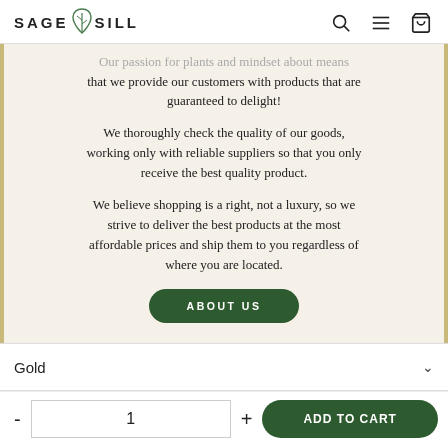SAGE SILL
Our passion for plants and mindset about means that we provide our customers with products that are guaranteed to delight!
We thoroughly check the quality of our goods, working only with reliable suppliers so that you only receive the best quality product.
We believe shopping is a right, not a luxury, so we strive to deliver the best products at the most affordable prices and ship them to you regardless of where you are located.
ABOUT US
Gold
- 1 + ADD TO CART